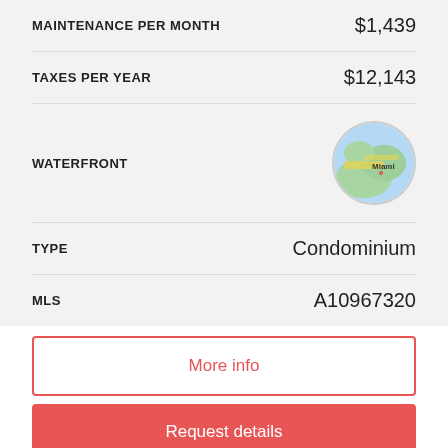| Field | Value |
| --- | --- |
| MAINTENANCE PER MONTH | $1,439 |
| TAXES PER YEAR | $12,143 |
| WATERFRONT | [map image] |
| TYPE | Condominium |
| MLS | A10967320 |
More info
Request details
Listing Description
Amazing and Unique views. Move in today and enjoy this gorgeous and elegant apartment This is a gorgeous and elegant apartment with lots of natural light and great